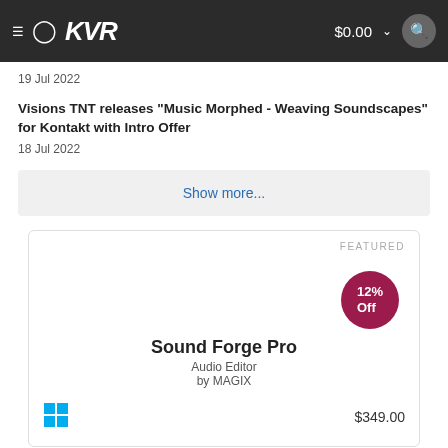KVR $0.00
19 Jul 2022
Visions TNT releases "Music Morphed - Weaving Soundscapes" for Kontakt with Intro Offer
18 Jul 2022
Show more...
[Figure (screenshot): Featured product card for Sound Forge Pro with 12% Off badge. Shows product title 'Sound Forge Pro', subtitle 'Audio Editor by MAGIX', Windows logo icon, and price $349.00. FEATURED label at top right.]